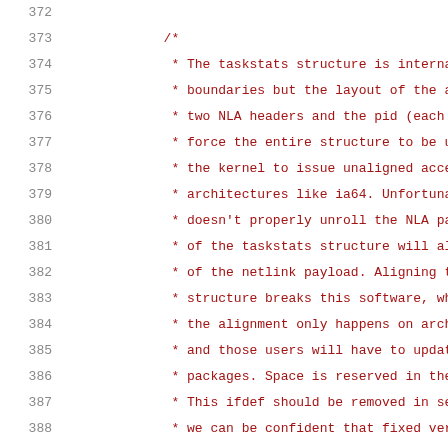Source code listing, lines 372-393, C code comment about taskstats structure alignment and padding
372: (blank)
373:         /*
374:          * The taskstats structure is internally aligned on 8-byte
375:          * boundaries but the layout of the aggregate
376:          * two NLA headers and the pid (each 4 b
377:          * force the entire structure to be una
378:          * the kernel to issue unaligned access
379:          * architectures like ia64. Unfortunately
380:          * doesn't properly unroll the NLA packe
381:          * of the taskstats structure will alway
382:          * of the netlink payload. Aligning the
383:          * structure breaks this software, which
384:          * the alignment only happens on archite
385:          * and those users will have to update t
386:          * packages. Space is reserved in the pa
387:          * This ifdef should be removed in seve
388:          * we can be confident that fixed versio
389:          * systems. We add the padding before th
390:          * aggregate is already a defined type.
391:          */
392: #ifdef TASKSTATS_NEEDS_PADDING
393: (partially visible)